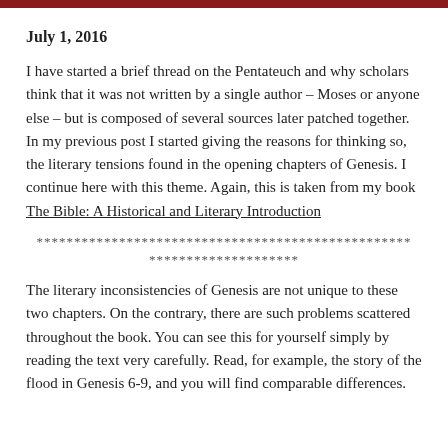July 1, 2016
I have started a brief thread on the Pentateuch and why scholars think that it was not written by a single author – Moses or anyone else – but is composed of several sources later patched together.  In my previous post I started giving the reasons for thinking so, the literary tensions found in the opening chapters of Genesis.  I continue here with this theme.  Again, this is taken from my book The Bible: A Historical and Literary Introduction
************************************************** ********************
The literary inconsistencies of Genesis are not unique to these two chapters.  On the contrary, there are such problems scattered throughout the book.   You can see this for yourself simply by reading the text very carefully.  Read, for example, the story of the flood in Genesis 6-9, and you will find comparable differences.